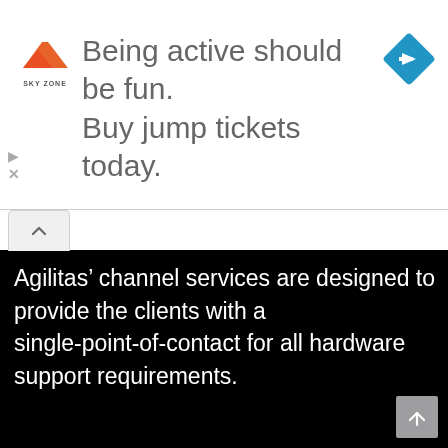[Figure (screenshot): Sky Zone advertisement banner: logo on left, text 'Being active should be fun. Buy jump tickets today.' in center, blue diamond navigation icon on right]
Agilitas’ channel services are designed to provide the clients with a single-point-of-contact for all hardware support requirements.